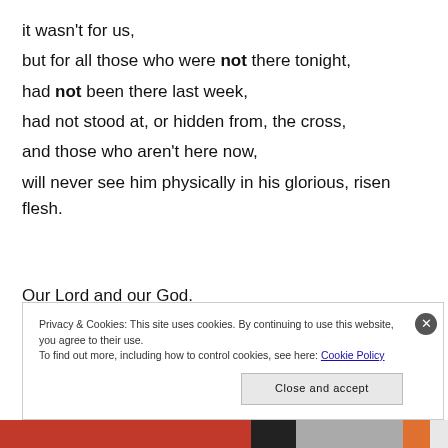it wasn't for us,
but for all those who were not there tonight,
had not been there last week,
had not stood at, or hidden from, the cross,
and those who aren't here now,
will never see him physically in his glorious, risen flesh.
Our Lord and our God.
Privacy & Cookies: This site uses cookies. By continuing to use this website, you agree to their use. To find out more, including how to control cookies, see here: Cookie Policy